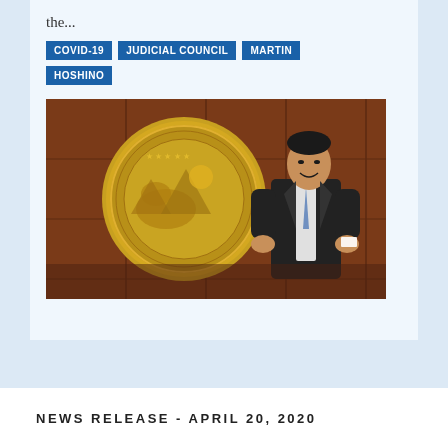the...
COVID-19
JUDICIAL COUNCIL
MARTIN HOSHINO
[Figure (photo): A man in a dark suit and blue tie speaking in front of a large golden seal medallion mounted on a wooden panel wall.]
NEWS RELEASE - APRIL 20, 2020